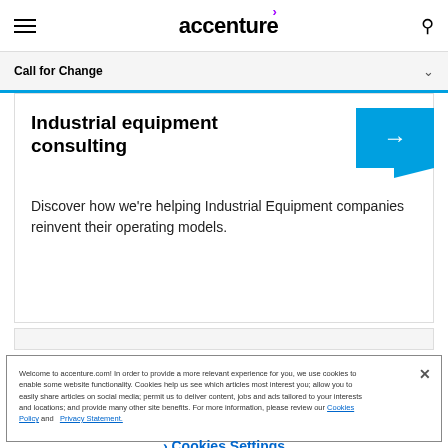accenture
Call for Change
Industrial equipment consulting
Discover how we're helping Industrial Equipment companies reinvent their operating models.
Welcome to accenture.com! In order to provide a more relevant experience for you, we use cookies to enable some website functionality. Cookies help us see which articles most interest you; allow you to easily share articles on social media; permit us to deliver content, jobs and ads tailored to your interests and locations; and provide many other site benefits. For more information, please review our Cookies Policy and Privacy Statement.
Cookies Settings